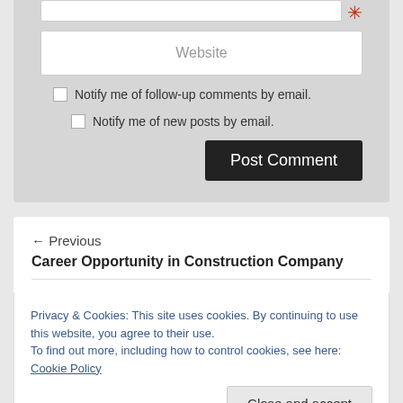[Figure (screenshot): Top portion of a web comment form showing a white input box and a red asterisk]
[Figure (screenshot): Website input field with placeholder label 'Website']
Notify me of follow-up comments by email.
Notify me of new posts by email.
Post Comment
← Previous
Career Opportunity in Construction Company
Privacy & Cookies: This site uses cookies. By continuing to use this website, you agree to their use.
To find out more, including how to control cookies, see here: Cookie Policy
Close and accept